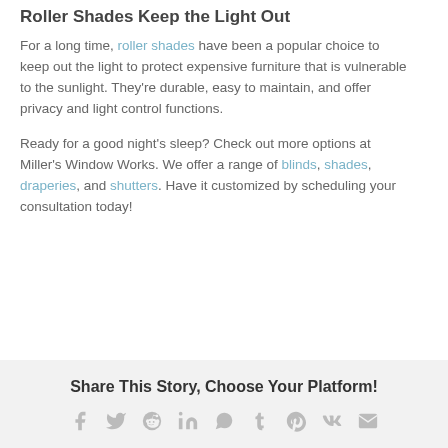Roller Shades Keep the Light Out
For a long time, roller shades have been a popular choice to keep out the light to protect expensive furniture that is vulnerable to the sunlight. They're durable, easy to maintain, and offer privacy and light control functions.
Ready for a good night's sleep? Check out more options at Miller's Window Works. We offer a range of blinds, shades, draperies, and shutters. Have it customized by scheduling your consultation today!
Share This Story, Choose Your Platform!